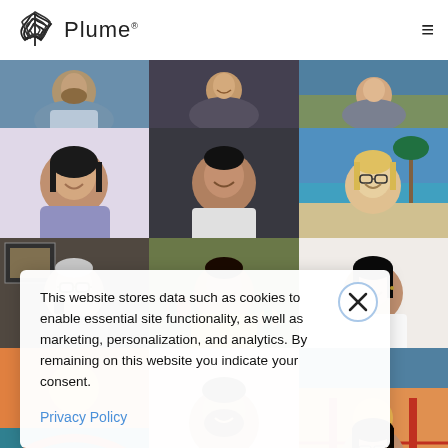Plume
[Figure (photo): Grid of video call thumbnails showing multiple people's faces in a video conference layout. Various backgrounds including homes, offices, and virtual/travel backgrounds.]
This website stores data such as cookies to enable essential site functionality, as well as marketing, personalization, and analytics. By remaining on this website you indicate your consent.
Privacy Policy